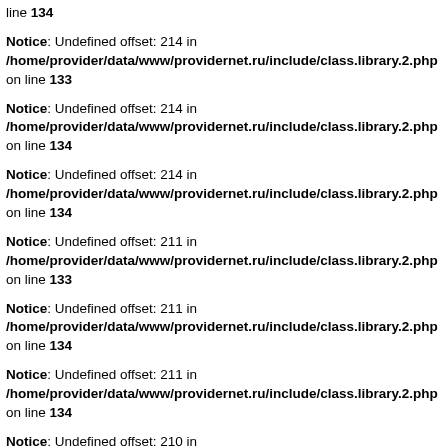line 134
Notice: Undefined offset: 214 in /home/provider/data/www/providernet.ru/include/class.library.2.php on line 133
Notice: Undefined offset: 214 in /home/provider/data/www/providernet.ru/include/class.library.2.php on line 134
Notice: Undefined offset: 214 in /home/provider/data/www/providernet.ru/include/class.library.2.php on line 134
Notice: Undefined offset: 211 in /home/provider/data/www/providernet.ru/include/class.library.2.php on line 133
Notice: Undefined offset: 211 in /home/provider/data/www/providernet.ru/include/class.library.2.php on line 134
Notice: Undefined offset: 211 in /home/provider/data/www/providernet.ru/include/class.library.2.php on line 134
Notice: Undefined offset: 210 in /home/provider/data/www/providernet.ru/include/class.library.2.php on line 133